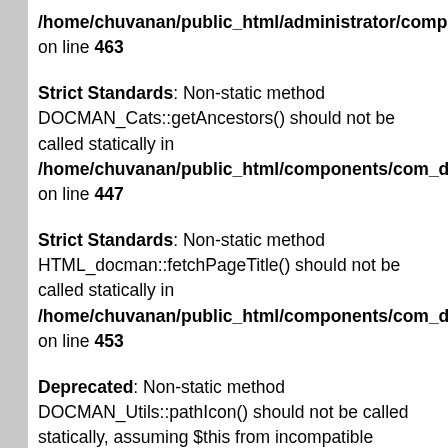/home/chuvanan/public_html/administrator/components on line 463
Strict Standards: Non-static method DOCMAN_Cats::getAncestors() should not be called statically in /home/chuvanan/public_html/components/com_docman on line 447
Strict Standards: Non-static method HTML_docman::fetchPageTitle() should not be called statically in /home/chuvanan/public_html/components/com_docman on line 453
Deprecated: Non-static method DOCMAN_Utils::pathIcon() should not be called statically, assuming $this from incompatible context in /home/chuvanan/public_html/administrator/components